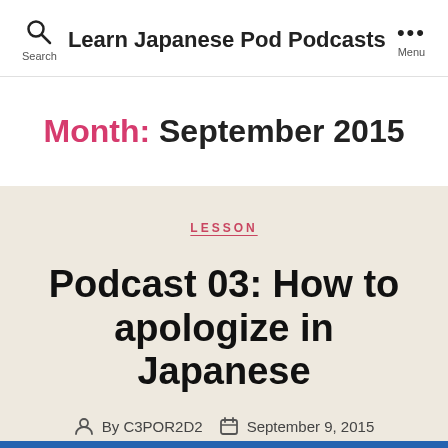Learn Japanese Pod Podcasts
Month: September 2015
LESSON
Podcast 03: How to apologize in Japanese
By C3POR2D2  September 9, 2015